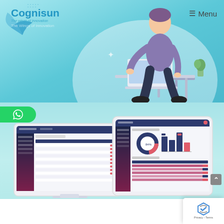[Figure (illustration): Cognisun company website screenshot showing top hero section with teal/cyan gradient background, a person sitting at a laptop illustration, the Cognisun logo with tagline 'The Wings of Innovation', and a Menu button in the top right corner]
[Figure (screenshot): WhatsApp contact button (green rounded pill) and two software dashboard screenshots on a light teal background. Left screen is a desktop monitor showing a data management interface with sidebar, table with rows and colored action buttons. Right screen is a tablet showing analytics dashboard with donut chart, bar chart, and data table sections.]
[Figure (other): reCAPTCHA widget with Privacy and Terms links at bottom right corner]